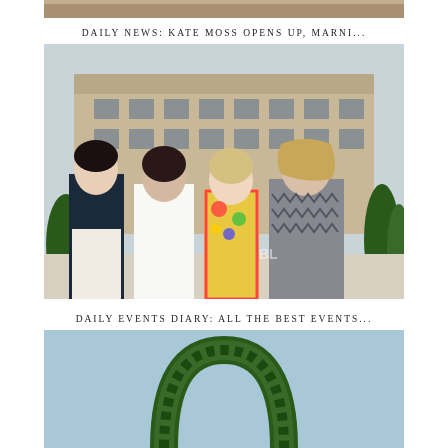[Figure (photo): Top portion of a photo, partially visible at the top of the page — appears to be a cropped image]
DAILY NEWS: KATE MOSS OPENS UP, MARNI...
[Figure (photo): Four women posing outdoors in front of a classical stone building. From left to right: woman in navy tank top and white trousers with black belt, woman in white blazer suit, woman in floral dress, woman in grey patterned romper. Green topiaries visible in background.]
DAILY EVENTS DIARY: ALL THE BEST EVENTS...
[Figure (photo): Bottom portion of a photo showing what appears to be a green wreath or circular topiary against a blue background, partially visible at the bottom of the page.]